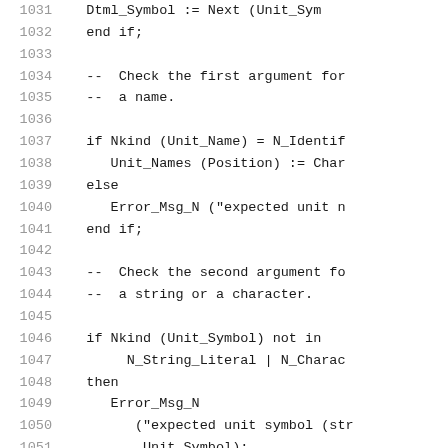Source code listing lines 1031-1052, Ada programming language snippet
1031    Dtml_Symbol := Next (Unit_Sym
1032    end if;
1033
1034    --  Check the first argument for
1035    --  a name.
1036
1037    if Nkind (Unit_Name) = N_Identif
1038       Unit_Names (Position) := Char
1039    else
1040       Error_Msg_N ("expected unit n
1041    end if;
1042
1043    --  Check the second argument fo
1044    --  a string or a character.
1045
1046    if Nkind (Unit_Symbol) not in
1047         N_String_Literal | N_Charac
1048    then
1049       Error_Msg_N
1050          ("expected unit symbol (str
1051           Unit_Symbol);
1052